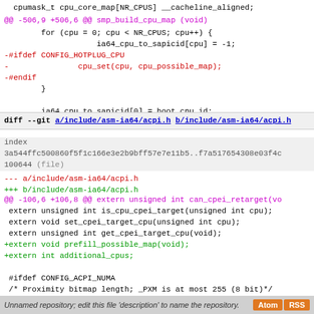cpumask_t cpu_core_map[NR_CPUS] __cacheline_aligned;
@@ -506,9 +506,6 @@ smp_build_cpu_map (void)
for (cpu = 0; cpu < NR_CPUS; cpu++) {
    ia64_cpu_to_sapicid[cpu] = -1;
-#ifdef CONFIG_HOTPLUG_CPU
-               cpu_set(cpu, cpu_possible_map);
-#endif
    }

    ia64_cpu_to_sapicid[0] = boot_cpu_id;
diff --git a/include/asm-ia64/acpi.h b/include/asm-ia64/acpi.h
index 3a544ffc500860f5f1c166e3e2b9bff57e7e11b5..f7a517654308e03f4c 100644 (file)
--- a/include/asm-ia64/acpi.h
+++ b/include/asm-ia64/acpi.h
@@ -106,6 +106,8 @@ extern unsigned int can_cpei_retarget(vo
extern unsigned int is_cpu_cpei_target(unsigned int cpu);
 extern void set_cpei_target_cpu(unsigned int cpu);
 extern unsigned int get_cpei_target_cpu(void);
+extern void prefill_possible_map(void);
+extern int additional_cpus;

 #ifdef CONFIG_ACPI_NUMA
 /* Proximity bitmap length; _PXM is at most 255 (8 bit)*/
Unnamed repository; edit this file 'description' to name the repository.